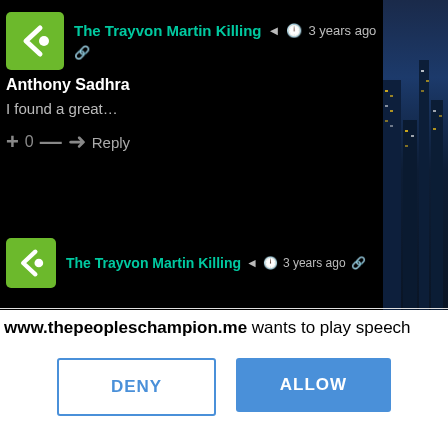[Figure (screenshot): Screenshot of a web comment thread on a dark background. Shows two comment entries for 'The Trayvon Martin Killing' channel with a green logo avatar. First comment by Anthony Sadhra reads 'I found a great...' with vote controls (+, 0, -) and a Reply button. Second comment header is partially visible at the bottom. To the right is a partial city skyline photo.]
www.thepeopleschampion.me wants to play speech
[Figure (screenshot): Browser permission dialog with DENY and ALLOW buttons]